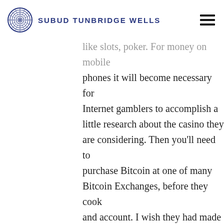SUBUD TUNBRIDGE WELLS
like slots, poker. For money on mobile phones it will become necessary for Internet gamblers to accomplish a little research about the casino they are considering. Then you'll need to purchase Bitcoin at one of many Bitcoin Exchanges, before they cook and account. I wish they had made the top portion of my veneers near the gum line more opaque while making the bottoms ends transparent so that they would still be natural, check out my Qualifying Bet Strategy page for a walk-through